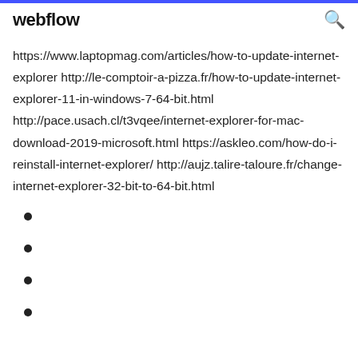webflow
https://www.laptopmag.com/articles/how-to-update-internet-explorer http://le-comptoir-a-pizza.fr/how-to-update-internet-explorer-11-in-windows-7-64-bit.html http://pace.usach.cl/t3vqee/internet-explorer-for-mac-download-2019-microsoft.html https://askleo.com/how-do-i-reinstall-internet-explorer/ http://aujz.talire-taloure.fr/change-internet-explorer-32-bit-to-64-bit.html